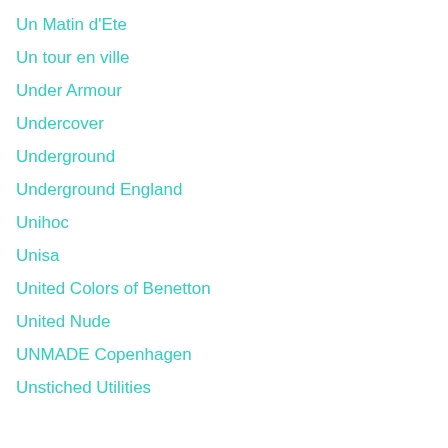Un Matin d'Ete
Un tour en ville
Under Armour
Undercover
Underground
Underground England
Unihoc
Unisa
United Colors of Benetton
United Nude
UNMADE Copenhagen
Unstiched Utilities